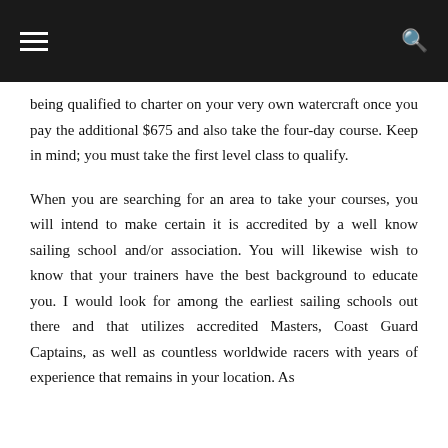being qualified to charter on your very own watercraft once you pay the additional $675 and also take the four-day course. Keep in mind; you must take the first level class to qualify.
When you are searching for an area to take your courses, you will intend to make certain it is accredited by a well know sailing school and/or association. You will likewise wish to know that your trainers have the best background to educate you. I would look for among the earliest sailing schools out there and that utilizes accredited Masters, Coast Guard Captains, as well as countless worldwide racers with years of experience that remains in your location. As